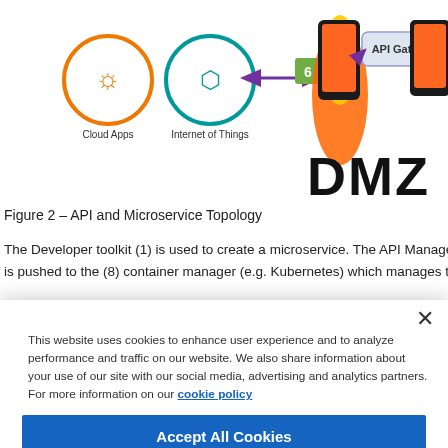[Figure (other): Partial view of API and Microservice Topology diagram showing Cloud Apps and Internet of Things icons with orange/red flame graphic, purple arrows, green label '6', and API Gateway box in upper right, plus 'DMZ' text label]
Figure 2 – API and Microservice Topology
The Developer toolkit (1) is used to create a microservice. The API Management ser... is pushed to the (8) container manager (e.g. Kubernetes) which manages the Micros...
× This website uses cookies to enhance user experience and to analyze performance and traffic on our website. We also share information about your use of our site with our social media, advertising and analytics partners. For more information on our cookie policy
Accept All Cookies
Cookies Settings